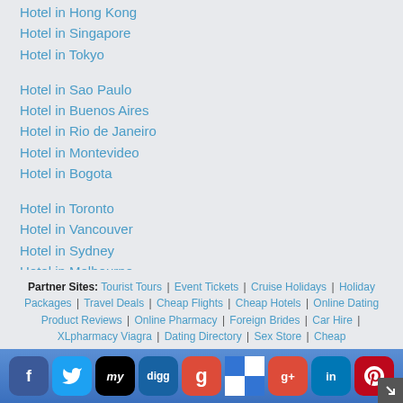Hotel in Hong Kong
Hotel in Singapore
Hotel in Tokyo
Hotel in Sao Paulo
Hotel in Buenos Aires
Hotel in Rio de Janeiro
Hotel in Montevideo
Hotel in Bogota
Hotel in Toronto
Hotel in Vancouver
Hotel in Sydney
Hotel in Melbourne
Hotel in Perth
Partner Sites: Tourist Tours | Event Tickets | Cruise Holidays | Holiday Packages | Travel Deals | Cheap Flights | Cheap Hotels | Online Dating | Product Reviews | Online Pharmacy | Foreign Brides | Car Hire | XLpharmacy Viagra | Dating Directory | Sex Store | Cheap